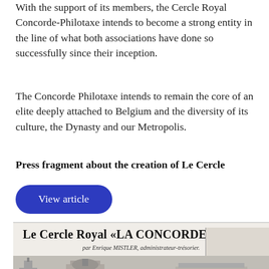With the support of its members, the Cercle Royal Concorde-Philotaxe intends to become a strong entity in the line of what both associations have done so successfully since their inception.
The Concorde Philotaxe intends to remain the core of an elite deeply attached to Belgium and the diversity of its culture, the Dynasty and our Metropolis.
Press fragment about the creation of Le Cercle
View article
[Figure (photo): Newspaper clipping with heading 'Le Cercle Royal «LA CONCORDE»' and subtitle 'par Enrique MISTLER, administrateur-trésorier.' with a sketch illustration of buildings below.]